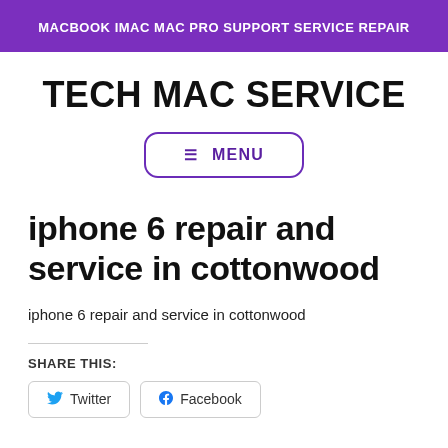MACBOOK IMAC MAC PRO SUPPORT SERVICE REPAIR
TECH MAC SERVICE
[Figure (other): Menu button with hamburger icon and text MENU, rounded rectangle border in purple]
iphone 6 repair and service in cottonwood
iphone 6 repair and service in cottonwood
SHARE THIS:
Twitter  Facebook